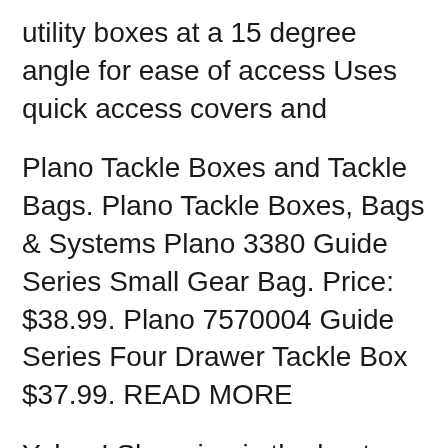utility boxes at a 15 degree angle for ease of access Uses quick access covers and
Plano Tackle Boxes and Tackle Bags. Plano Tackle Boxes, Bags & Systems Plano 3380 Guide Series Small Gear Bag. Price: $38.99. Plano 7570004 Guide Series Four Drawer Tackle Box $37.99. READ MORE
Yahoo! Shopping is the best place to comparison shop for Replacement Parts For Plano Tackle Boxes. Compare products, compare prices, read reviews and merchant ratings. Quality Marine Supply Plano Guide Seriesв„ў Two-Tiered StowawayВ® Tackle Box -